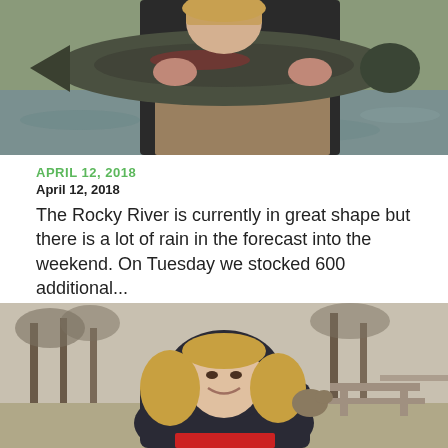[Figure (photo): Person holding a large steelhead/salmon fish with both hands, standing in a river wearing waders and dark jacket.]
APRIL 12, 2018
April 12, 2018
The Rocky River is currently in great shape but there is a lot of rain in the forecast into the weekend. On Tuesday we stocked 600 additional...
[Figure (photo): Young woman smiling, wearing a dark hoodie, standing outdoors near picnic tables and bare trees in a park setting.]